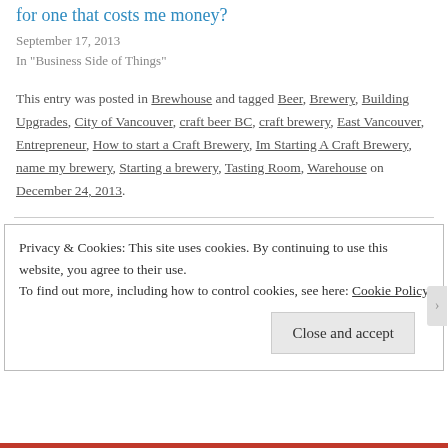for one that costs me money?
September 17, 2013
In "Business Side of Things"
This entry was posted in Brewhouse and tagged Beer, Brewery, Building Upgrades, City of Vancouver, craft beer BC, craft brewery, East Vancouver, Entrepreneur, How to start a Craft Brewery, Im Starting A Craft Brewery, name my brewery, Starting a brewery, Tasting Room, Warehouse on December 24, 2013.
Privacy & Cookies: This site uses cookies. By continuing to use this website, you agree to their use.
To find out more, including how to control cookies, see here: Cookie Policy
Close and accept